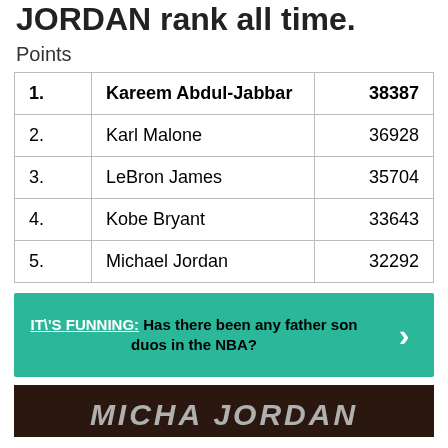JORDAN rank all time.
Points
| # | Name | Points |
| --- | --- | --- |
| 1. | Kareem Abdul-Jabbar | 38387 |
| 2. | Karl Malone | 36928 |
| 3. | LeBron James | 35704 |
| 4. | Kobe Bryant | 33643 |
| 5. | Michael Jordan | 32292 |
IT\'S FUNNING:  Has there been any father son duos in the NBA?
[Figure (photo): Partial image at bottom showing Michael Jordan text/logo]